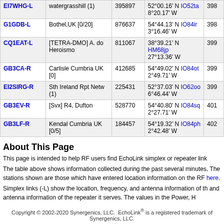| Callsign | Description | Node | Location | Freq |
| --- | --- | --- | --- | --- |
| EI7WHG-L | watergrasshill (1) | 395897 | 52°00.16' N 8°20.17' W IO52ta | 3988 |
| G1GDB-L | Bothel,UK [0/20] | 876637 | 54°44.13' N 3°16.46' W IO84ir | 3986 |
| CQ1EAT-L | [TETRA-DMO] A. do Heroismo | 811067 | 38°39.21' N 27°13.36' W HM68jp | 3992 |
| GB3CA-R | Carlisle Cumbria UK [0] | 412685 | 54°49.02' N 2°49.71' W IO84ot | 3994 |
| EI2SIRG-R | Sth Ireland Rpt Netw (1) | 225431 | 52°37.03' N 6°46.44' W IO62oo | 3997 |
| GB3EV-R | [Svx] R4, Dufton | 528770 | 54°40.80' N 2°27.71' W IO84sq | 4011 |
| GB3LF-R | Kendal Cumbria UK [0/5] | 184457 | 54°19.32' N 2°42.48' W IO84ph | 4023 |
About This Page
This page is intended to help RF users find EchoLink simplex or repeater link stations near a location.
The table above shows information collected during the past several minutes. The stations shown are those which have entered location information on the RF page here.
Simplex links (-L) show the location, frequency, and antenna information of the link, and antenna information of the repeater it serves. The values in the Power, H…
Copyright © 2002-2020 Synergenics, LLC.  EchoLink® is a registered trademark of Synergenics, LLC.